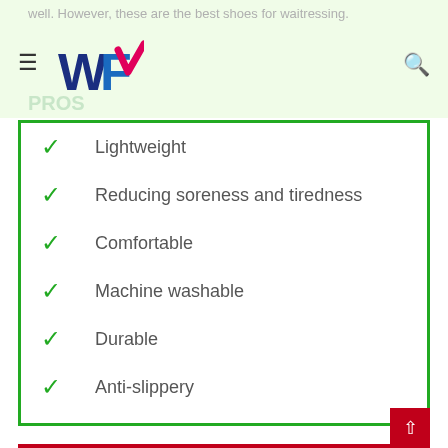well. However, these are the best shoes for waitressing.
[Figure (logo): WF logo with blue and pink/magenta checkmark design]
Lightweight
Reducing soreness and tiredness
Comfortable
Machine washable
Durable
Anti-slippery
Cons
Feeling hot
Non-fashionable